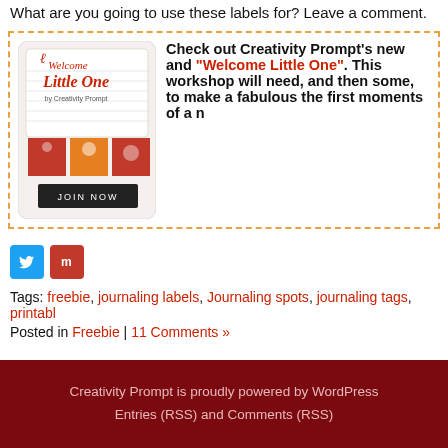What are you going to use these labels for? Leave a comment.
[Figure (illustration): Promotional banner for 'Welcome Little One by Creativity Prompt' workshop with JOIN NOW button, showing scrapbook images]
Check out Creativity Prompt's new and... "Welcome Little One". This workshop will... need, and then some, to make a fabulous... the first moments of a n...
[Figure (logo): Twitter social share button (blue square with bird icon) and Mix social share button (red square with m icon)]
Tags: freebie, journaling labels, Journaling spots, journaling tags, printabl...
Posted in Freebie | 11 Comments »
Creativity Prompt is proudly powered by WordPress
Entries (RSS) and Comments (RSS)